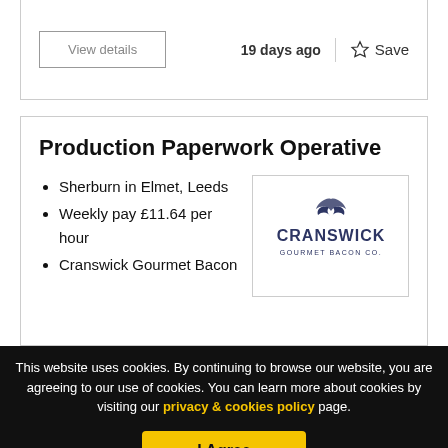View details
19 days ago
Save
Production Paperwork Operative
Sherburn in Elmet, Leeds
Weekly pay £11.64 per hour
Cranswick Gourmet Bacon
[Figure (logo): Cranswick Gourmet Bacon Co. logo with bird graphic]
This website uses cookies. By continuing to browse our website, you are agreeing to our use of cookies. You can learn more about cookies by visiting our privacy & cookies policy page.
I Agree